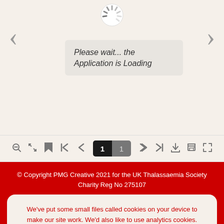[Figure (screenshot): Loading spinner icon at top center of content area]
[Figure (screenshot): Left navigation arrow chevron]
[Figure (screenshot): Right navigation arrow chevron]
Please wait... the Application is Loading
[Figure (screenshot): Document viewer toolbar with icons: zoom out, expand, bookmark, first page, previous page, page number input showing 1 of 1, next page, last page, download, print, fullscreen]
© Copyright PMG Creative 2021 for the UK Thalassaemia Society Charity Reg No 275107
We've put some small files called cookies on your device to make our site work. We'd also like to use analytics cookies. These send information about how our site is used to Google Analytics. We use this information to improve our site. Let us know if this is OK. We'll use a cookie to save your choice.
Accept and close